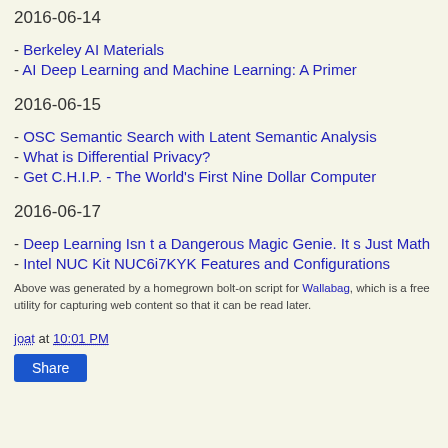2016-06-14
- Berkeley AI Materials
- AI Deep Learning and Machine Learning: A Primer
2016-06-15
- OSC Semantic Search with Latent Semantic Analysis
- What is Differential Privacy?
- Get C.H.I.P. - The World's First Nine Dollar Computer
2016-06-17
- Deep Learning Isn t a Dangerous Magic Genie. It s Just Math
- Intel NUC Kit NUC6i7KYK Features and Configurations
Above was generated by a homegrown bolt-on script for Wallabag, which is a free utility for capturing web content so that it can be read later.
joat at 10:01 PM
Share